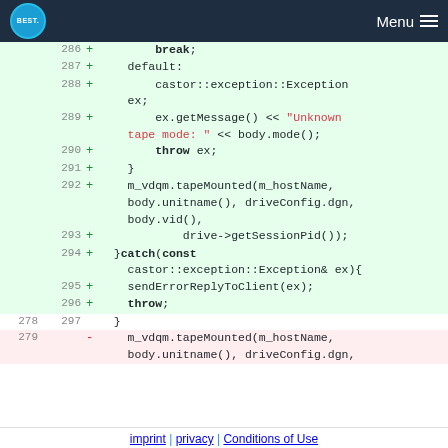BEST Menu
[Figure (screenshot): Code diff view showing lines 286-297 (added, green background) and line 278-279 (neutral/removed). Added lines show C++ code with break, default, castor::exception::Exception, ex.getMessage(), throw, m_vdqm.tapeMounted, drive->getSessionPid(), catch block, sendErrorReplyToClient, throw. Line 279 (removed, red background) shows m_vdqm.tapeMounted(m_hostName, body.unitname(), driveConfig.dgn,...]
imprint | privacy | Conditions of Use